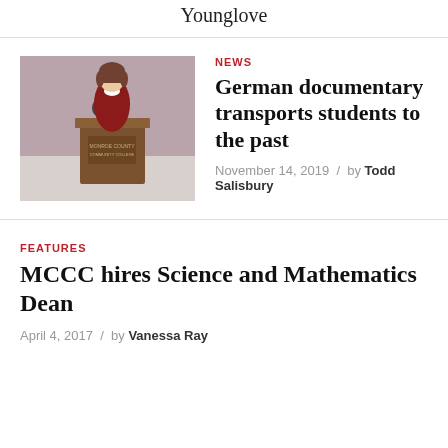Younglove
NEWS
[Figure (photo): A woman in a red sweater speaking at a podium with a microphone at Monroe County Community College]
German documentary transports students to the past
November 14, 2019 / by Todd Salisbury
FEATURES
MCCC hires Science and Mathematics Dean
April 4, 2017 / by Vanessa Ray